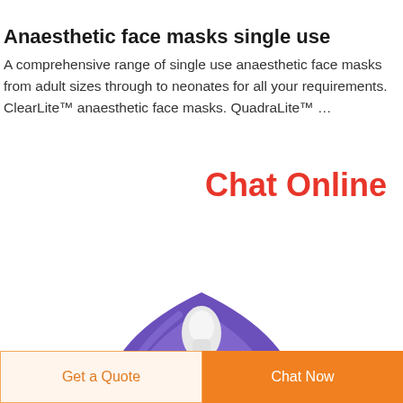Anaesthetic face masks single use
A comprehensive range of single use anaesthetic face masks from adult sizes through to neonates for all your requirements. ClearLite™ anaesthetic face masks. QuadraLite™ …
Chat Online
[Figure (photo): Purple anaesthetic face mask product photo showing top portion of a single-use face mask with purple silicone rim and white body]
Get a Quote
Chat Now